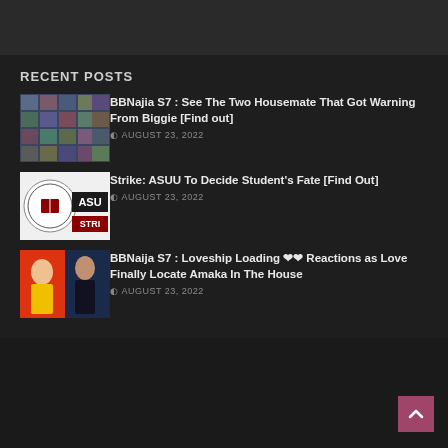RECENT POSTS
[Figure (photo): BBNaija S7 housemates photo grid]
BBNajia S7 : See The Two Housemate That Got Warning From Biggie [Find out]
AUGUST 23, 2022
[Figure (photo): ASUU strike logo]
Strike: ASUU To Decide Student's Fate [Find Out]
AUGUST 23, 2022
[Figure (photo): BBNaija S7 Amaka loveship photo]
BBNaija S7 : Loveship Loading ❤❤ Reactions as Love Finally Locate Amaka In The House
AUGUST 23, 2022